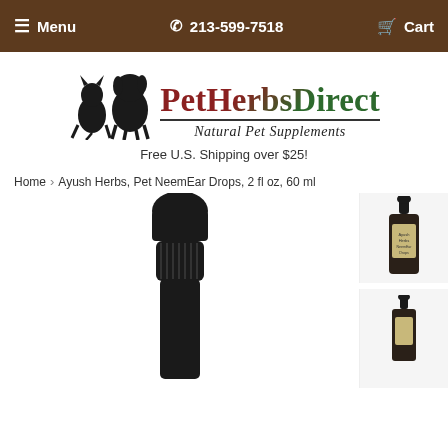Menu  | 213-599-7518 | Cart
[Figure (logo): PetHerbsDirect logo with silhouettes of a cat and dog, text 'PetHerbsDirect' and 'Natural Pet Supplements']
Free U.S. Shipping over $25!
Home > Ayush Herbs, Pet NeemEar Drops, 2 fl oz, 60 ml
[Figure (photo): Close-up of a dropper bottle cap (black) for Ayush Herbs Pet NeemEar Drops]
[Figure (photo): Thumbnail of full Ayush Herbs Pet NeemEar Drops bottle with label]
[Figure (photo): Second thumbnail of Ayush Herbs Pet NeemEar Drops bottle]